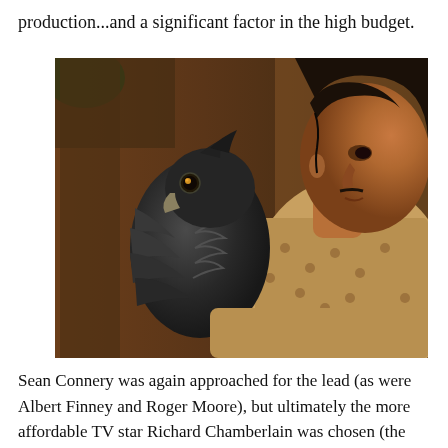production...and a significant factor in the high budget.
[Figure (photo): A man with dark hair pulled back, wearing a patterned shirt, looks at a dark-feathered bird of prey perched on his arm. The bird, possibly a falcon or hawk, faces him closely. Background shows a dimly lit interior.]
Sean Connery was again approached for the lead (as were Albert Finney and Roger Moore), but ultimately the more affordable TV star Richard Chamberlain was chosen (the